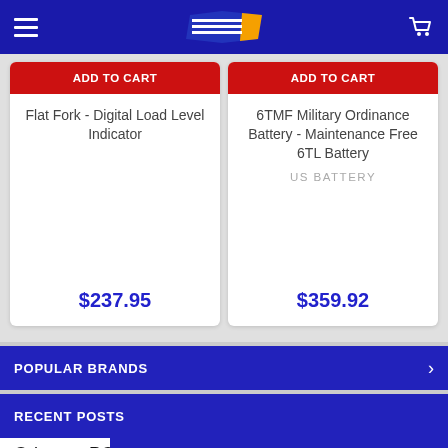Powerstride Battery – navigation header
ADD TO CART
Flat Fork - Digital Load Level Indicator $237.95
ADD TO CART
6TMF Military Ordinance Battery - Maintenance Free 6TL Battery US BATTERY $359.92
POPULAR BRANDS
RECENT POSTS
Odyssey PC2250ST Battery NSN 6140-01-485-1472
Click Here & Let SMART FINDER Find Your Battery!